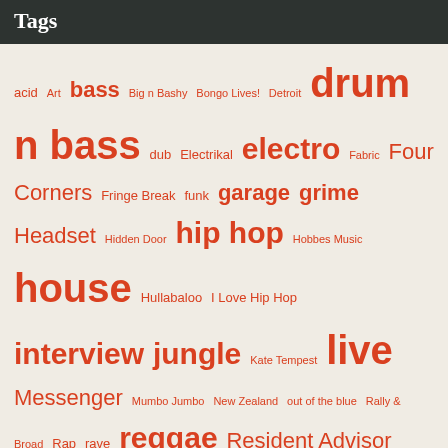Tags
acid Art bass Big n Bashy Bongo Lives! Detroit drum n bass dub Electrikal electro Fabric Four Corners Fringe Break funk garage grime Headset Hidden Door hip hop Hobbes Music house Hullabaloo I Love Hip Hop interview jungle Kate Tempest live Messenger Mumbo Jumbo New Zealand out of the blue Rally & Broad Rap rave reggae Resident Advisor soul Spoken Word Substance Summer Holidays techno The Correspondents UKG UK Garage video
Gallery
[Figure (photo): Gallery grid with 6 loading placeholder cells arranged in 2 rows of 3 columns, each showing a circular spinner/loading indicator]